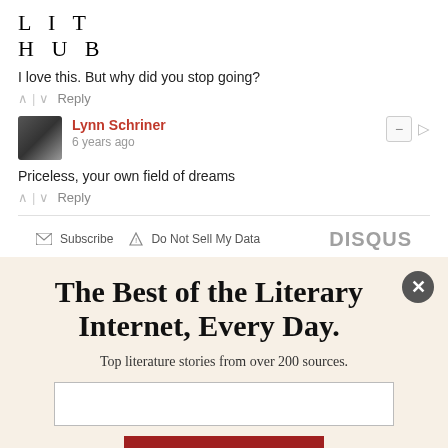[Figure (logo): Lit Hub logo — LIT HUB in spaced serif letters]
I love this. But why did you stop going?
^ | v  Reply
Lynn Schriner
6 years ago
Priceless, your own field of dreams
^ | v  Reply
Subscribe   Do Not Sell My Data   DISQUS
The Best of the Literary Internet, Every Day.
Top literature stories from over 200 sources.
SUBSCRIBE